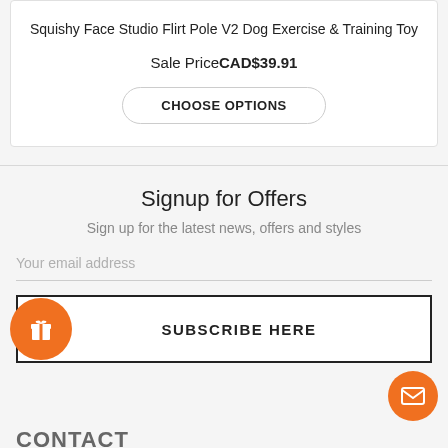Squishy Face Studio Flirt Pole V2 Dog Exercise & Training Toy
Sale Price CAD$39.91
CHOOSE OPTIONS
Signup for Offers
Sign up for the latest news, offers and styles
Your email address
SUBSCRIBE HERE
CONTACT